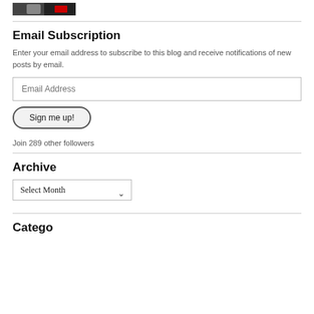[Figure (photo): Partial photo of a person in a suit with tie, cropped to show upper body]
Email Subscription
Enter your email address to subscribe to this blog and receive notifications of new posts by email.
Email Address
Sign me up!
Join 289 other followers
Archive
Select Month
Categories